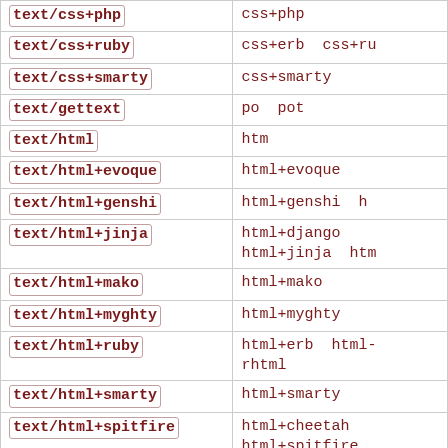| MIME type | Extensions |
| --- | --- |
| text/css+php | css+php |
| text/css+ruby | css+erb  css+ru |
| text/css+smarty | css+smarty |
| text/gettext | po  pot |
| text/html | htm |
| text/html+evoque | html+evoque |
| text/html+genshi | html+genshi  h |
| text/html+jinja | html+django
html+jinja  htm |
| text/html+mako | html+mako |
| text/html+myghty | html+myghty |
| text/html+ruby | html+erb  html-
rhtml |
| text/html+smarty | html+smarty |
| text/html+spitfire | html+cheetah
html+spitfire
htmlcheetah |
| text/html+twig | html+twig |
| text/html+velocity | html+velocity |
| text/idl | idl |